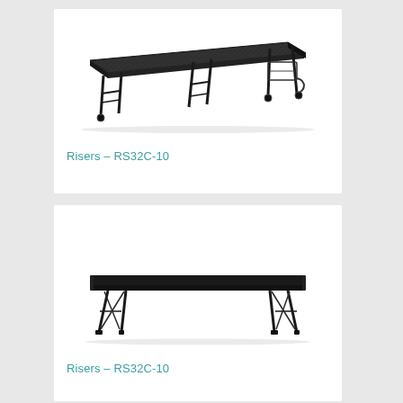[Figure (photo): Photo of a long narrow folding riser/stage platform with black textured top surface and adjustable black metal folding legs with wheels]
Risers - RS32C-10
[Figure (photo): Photo of a long folding table/riser with black flat top surface and black metal folding legs with small feet]
Risers - RS32C-10